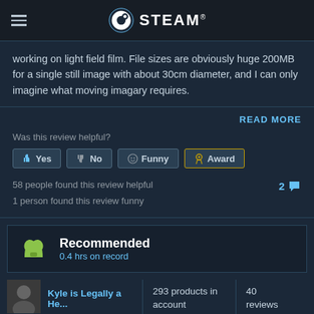STEAM
working on light field film. File sizes are obviously huge 200MB for a single still image with about 30cm diameter, and I can only imagine what moving imagary requires.
READ MORE
Was this review helpful?
Yes  No  Funny  Award
58 people found this review helpful
1 person found this review funny
2 comments
Recommended
0.4 hrs on record
Kyle is Legally a He...  |  293 products in account  |  40 reviews